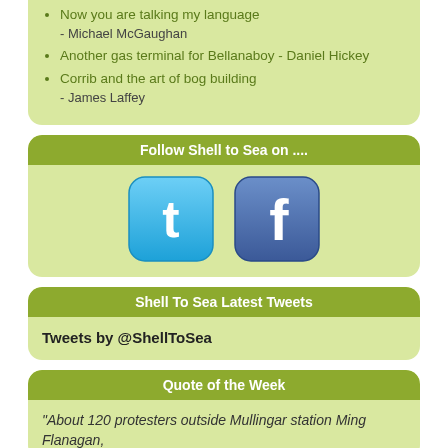Now you are talking my language - Michael McGaughan
Another gas terminal for Bellanaboy - Daniel Hickey
Corrib and the art of bog building - James Laffey
Follow Shell to Sea on ....
[Figure (logo): Twitter social media icon - blue rounded square with white bird/t logo]
[Figure (logo): Facebook social media icon - blue rounded square with white F logo]
Shell To Sea Latest Tweets
Tweets by @ShellToSea
Quote of the Week
"About 120 protesters outside Mullingar station Ming Flanagan,